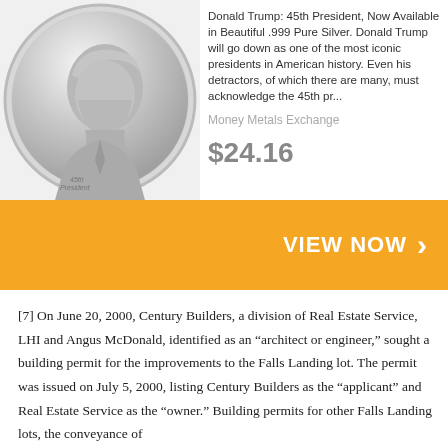[Figure (photo): Silver coin with relief portrait of Donald Trump labeled '45th President']
Donald Trump: 45th President, Now Available in Beautiful .999 Pure Silver. Donald Trump will go down as one of the most iconic presidents in American history. Even his detractors, of which there are many, must acknowledge the 45th pr...
Money Metals Exchange
$24.16
VIEW NOW
[7] On June 20, 2000, Century Builders, a division of Real Estate Service, LHI and Angus McDonald, identified as an “architect or engineer,” sought a building permit for the improvements to the Falls Landing lot. The permit was issued on July 5, 2000, listing Century Builders as the “applicant” and Real Estate Service as the “owner.” Building permits for other Falls Landing lots, the conveyance of